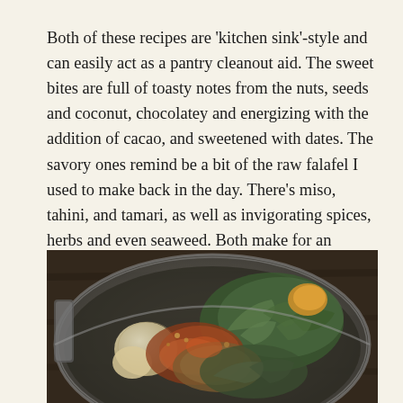Both of these recipes are 'kitchen sink'-style and can easily act as a pantry cleanout aid. The sweet bites are full of toasty notes from the nuts, seeds and coconut, chocolatey and energizing with the addition of cacao, and sweetened with dates. The savory ones remind be a bit of the raw falafel I used to make back in the day. There’s miso, tahini, and tamari, as well as invigorating spices, herbs and even seaweed. Both make for an amazing pick-me-up snack, easy to transport and a breeze to prepare. And I definitely won’t be throwing away any more nut pulp.
[Figure (photo): Close-up overhead photo of a food processor bowl containing various ingredients including spices, herbs (parsley or similar green leafy herb), garlic cloves, ground spices, and other ingredients being prepared for a recipe, set on a dark wooden surface.]